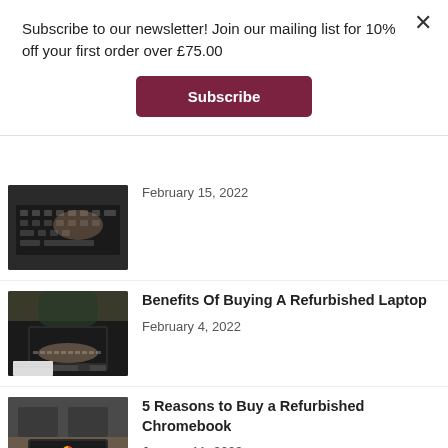Subscribe to our newsletter! Join our mailing list for 10% off your first order over £75.00
Subscribe
February 15, 2022
[Figure (photo): Hands typing on laptop keyboard, dark background]
Benefits Of Buying A Refurbished Laptop
February 4, 2022
[Figure (photo): Person typing on laptop at desk with notebook]
5 Reasons to Buy a Refurbished Chromebook
January 11, 2022
[Figure (photo): Chrome laptop on desk in office setting]
Eight technology predictions for